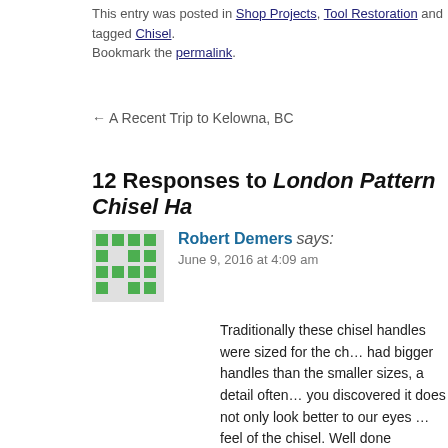This entry was posted in Shop Projects, Tool Restoration and tagged Chisel. Bookmark the permalink.
← A Recent Trip to Kelowna, BC
12 Responses to London Pattern Chisel Ha…
[Figure (other): Green pixel-art avatar/gravatar icon for commenter Robert Demers]
Robert Demers says:
June 9, 2016 at 4:09 am
Traditionally these chisel handles were sized for the ch… had bigger handles than the smaller sizes, a detail often… you discovered it does not only look better to our eyes … feel of the chisel. Well done Jonathan and don't don't b… fine.
No need to go full bore artist on a chisel handle it wont… look nicer. I usually just make quick rough sketch, as y… time. And yes I am a much better artist when I apply m… I need to visualize my ideas.